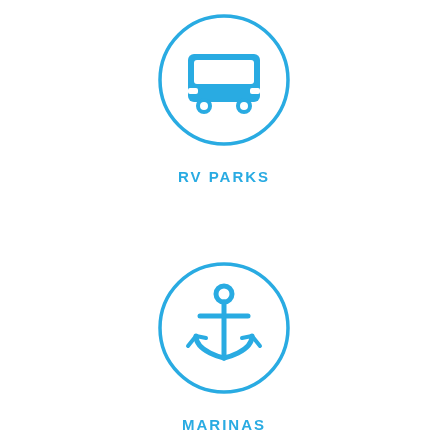[Figure (illustration): Blue circle outline with a blue bus/RV icon in the center]
RV PARKS
[Figure (illustration): Blue circle outline with a blue anchor icon in the center]
MARINAS